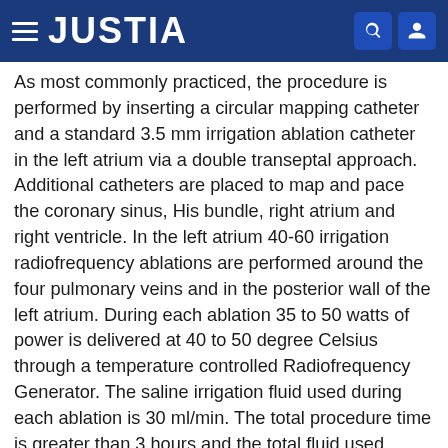JUSTIA
As most commonly practiced, the procedure is performed by inserting a circular mapping catheter and a standard 3.5 mm irrigation ablation catheter in the left atrium via a double transeptal approach. Additional catheters are placed to map and pace the coronary sinus, His bundle, right atrium and right ventricle. In the left atrium 40-60 irrigation radiofrequency ablations are performed around the four pulmonary veins and in the posterior wall of the left atrium. During each ablation 35 to 50 watts of power is delivered at 40 to 50 degree Celsius through a temperature controlled Radiofrequency Generator. The saline irrigation fluid used during each ablation is 30 ml/min. The total procedure time is greater than 3 hours and the total fluid used during the entire procedure including the period during mapping and positioning the electrode is greater than 3000 ml or 3 Liters. As described above,